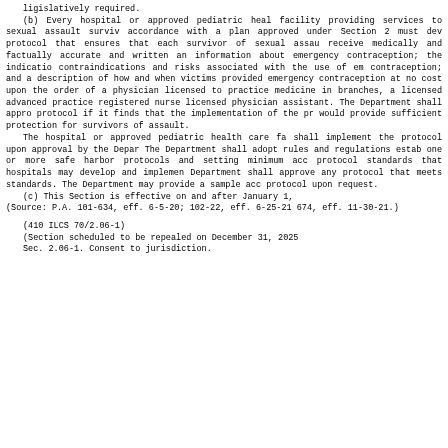ligislatively required.
(b) Every hospital or approved pediatric health care facility providing services to sexual assault survivors in accordance with a plan approved under Section 2 must develop a protocol that ensures that each survivor of sexual assault shall receive medically and factually accurate and written and oral information about emergency contraception; the indications, contraindications and risks associated with the use of emergency contraception; and a description of how and when victims can be provided emergency contraception at no cost upon the written order of a physician licensed to practice medicine in all its branches, a licensed advanced practice registered nurse, or a licensed physician assistant. The Department shall approve the protocol if it finds that the implementation of the protocol would provide sufficient protection for survivors of sexual assault.
    The hospital or approved pediatric health care facility shall implement the protocol upon approval by the Department. The Department shall adopt rules and regulations establishing one or more safe harbor protocols and setting minimum acceptable protocol standards that hospitals may develop and implement. The Department shall approve any protocol that meets these standards. The Department may provide a sample acceptable protocol upon request.
(c) This Section is effective on and after January 1, 2022.
(Source: P.A. 101-634, eff. 6-5-20; 102-22, eff. 6-25-21; 102-674, eff. 11-30-21.)

    (410 ILCS 70/2.06-1)
    (Section scheduled to be repealed on December 31, 2025.)
    Sec. 2.06-1. Consent to jurisdiction.
ligislatively required.